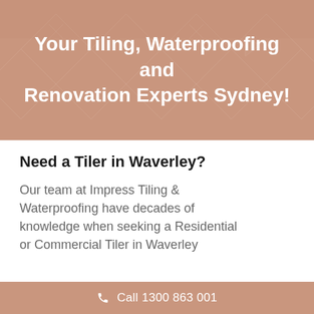[Figure (illustration): Decorative hero banner with terracotta/rose beige background showing diamond tile pattern overlay and partial image of tiling/renovation work at top]
Your Tiling, Waterproofing and Renovation Experts Sydney!
Need a Tiler in Waverley?
Our team at Impress Tiling & Waterproofing have decades of knowledge when seeking a Residential or Commercial Tiler in Waverley
Call 1300 863 001